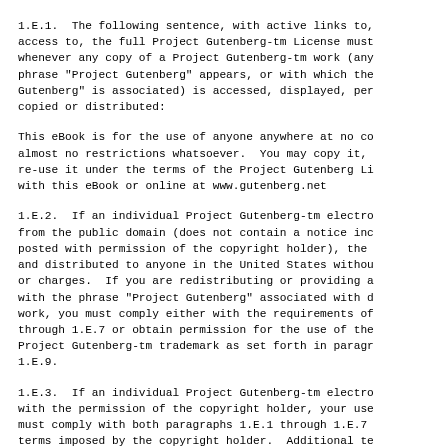1.E.1.  The following sentence, with active links to, access to, the full Project Gutenberg-tm License must whenever any copy of a Project Gutenberg-tm work (any phrase "Project Gutenberg" appears, or with which the Gutenberg" is associated) is accessed, displayed, per copied or distributed:
This eBook is for the use of anyone anywhere at no co almost no restrictions whatsoever.  You may copy it, re-use it under the terms of the Project Gutenberg Li with this eBook or online at www.gutenberg.net
1.E.2.  If an individual Project Gutenberg-tm electro from the public domain (does not contain a notice inc posted with permission of the copyright holder), the and distributed to anyone in the United States withou or charges.  If you are redistributing or providing a with the phrase "Project Gutenberg" associated with d work, you must comply either with the requirements of through 1.E.7 or obtain permission for the use of the Project Gutenberg-tm trademark as set forth in paragr 1.E.9.
1.E.3.  If an individual Project Gutenberg-tm electro with the permission of the copyright holder, your use must comply with both paragraphs 1.E.1 through 1.E.7 terms imposed by the copyright holder.  Additional te to the Project Gutenberg-tm License for all works pos permission of the copyright holder found at the begin